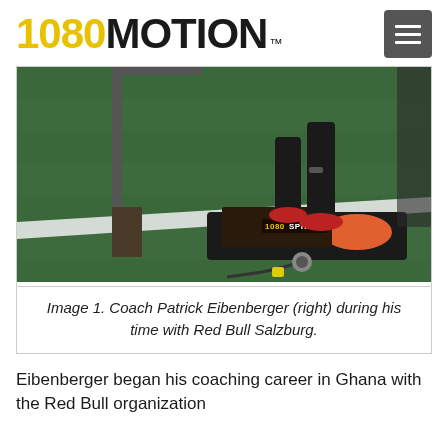1080 MOTION™
[Figure (photo): Photo of Coach Patrick Eibenberger using a 1080 Sprint resistance training device on a green turf field. The 1080 Sprint machine is visible in the foreground with orange roller. An athlete's legs in black tights and red shoes are visible stepping on the device.]
Image 1. Coach Patrick Eibenberger (right) during his time with Red Bull Salzburg.
Eibenberger began his coaching career in Ghana with the Red Bull organization